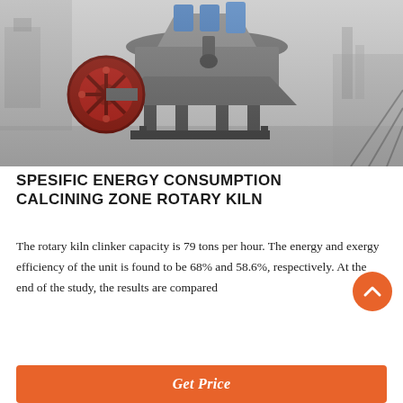[Figure (photo): Industrial rotary kiln / cone crusher machine photographed in a factory setting. Large heavy equipment with a prominent red flywheel on the left side, blue components on top, and a steel frame base. Black and white/grayscale industrial photo.]
SPESIFIC ENERGY CONSUMPTION CALCINING ZONE ROTARY KILN
The rotary kiln clinker capacity is 79 tons per hour. The energy and exergy efficiency of the unit is found to be 68% and 58.6%, respectively. At the end of the study, the results are compared
Get Price